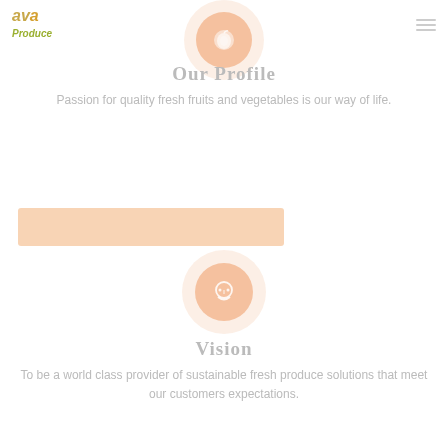[Figure (logo): Ava Produce logo with stylized text in olive/gold colors]
[Figure (illustration): Circular icon with fruit symbol, peach/salmon color with outer light halo circle]
Our Profile
Passion for quality fresh fruits and vegetables is our way of life.
[Figure (other): Orange/salmon colored horizontal rectangular bar]
[Figure (illustration): Circular icon with headset/customer service symbol, peach/salmon color with outer light halo circle]
Vision
To be a world class provider of sustainable fresh produce solutions that meet our customers expectations.